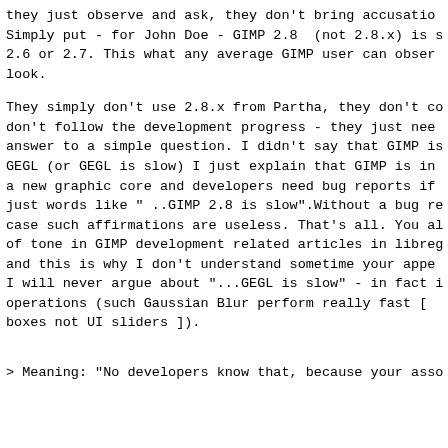they just observe and ask, they don't bring accusatio Simply put - for John Doe - GIMP 2.8  (not 2.8.x) is 2.6 or 2.7. This what any average GIMP user can obser look.
They simply don't use 2.8.x from Partha, they don't c don't follow the development progress - they just nee answer to a simple question. I didn't say that GIMP i GEGL (or GEGL is slow) I just explain that GIMP is i a new graphic core and developers need bug reports if just words like " ..GIMP 2.8 is slow".Without a bug r case such affirmations are useless. That's all. You a of tone in GIMP development related articles in libre and this is why I don't understand sometime your appe I will never argue about "...GEGL is slow" - in fact operations (such Gaussian Blur perform really fast [ boxes not UI sliders ]).
> Meaning: "No developers know that, because your ass